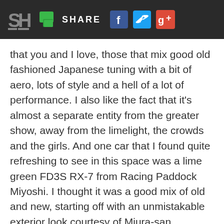SH SHARE [Facebook] [Twitter] [Google+]
that you and I love, those that mix good old fashioned Japanese tuning with a bit of aero, lots of style and a hell of a lot of performance. I also like the fact that it's almost a separate entity from the greater show, away from the limelight, the crowds and the girls. And one car that I found quite refreshing to see in this space was a lime green FD3S RX-7 from Racing Paddock Miyoshi. I thought it was a good mix of old and new, starting off with an unmistakable exterior look courtesy of Miura-san.